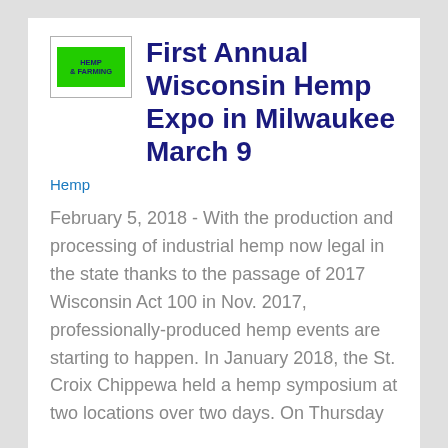[Figure (logo): Hemp business logo with green background and dark blue text]
First Annual Wisconsin Hemp Expo in Milwaukee March 9
Hemp
February 5, 2018 - With the production and processing of industrial hemp now legal in the state thanks to the passage of 2017 Wisconsin Act 100 in Nov. 2017, professionally-produced hemp events are starting to happen. In January 2018, the St. Croix Chippewa held a hemp symposium at two locations over two days. On Thursday